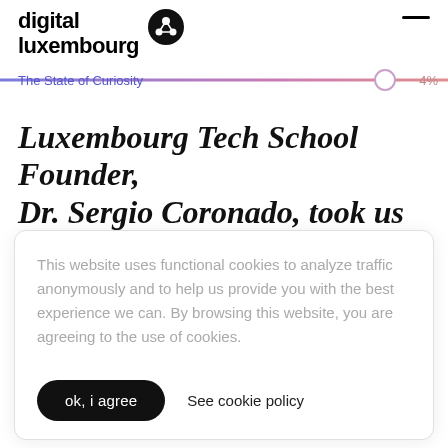digital luxembourg
The State of Curiosity 4%
Luxembourg Tech School Founder, Dr. Sergio Coronado, took us on a
This website uses functional cookies to analyze traffic anonymously and to help us provide you with the best experience we can. By browsing this website, you are agreeing to the use of cookies.
ok, i agree  See cookie policy